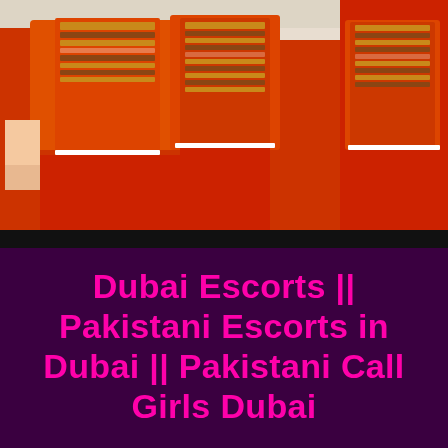[Figure (photo): Two people wearing orange/red outfits with ornate patterned jackets on a light background. Left figure shows torso and arm, right figure shows lower body with red trousers.]
Dubai Escorts || Pakistani Escorts in Dubai || Pakistani Call Girls Dubai
Home
Escorts ...
Agencies
Escort Reviews
Classified Ads
Contact Us